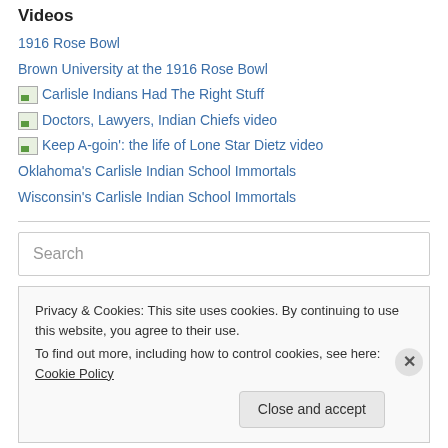Videos
1916 Rose Bowl
Brown University at the 1916 Rose Bowl
[img] Carlisle Indians Had The Right Stuff
[img] Doctors, Lawyers, Indian Chiefs video
[img] Keep A-goin': the life of Lone Star Dietz video
Oklahoma's Carlisle Indian School Immortals
Wisconsin's Carlisle Indian School Immortals
Search
Privacy & Cookies: This site uses cookies. By continuing to use this website, you agree to their use.
To find out more, including how to control cookies, see here: Cookie Policy
Close and accept